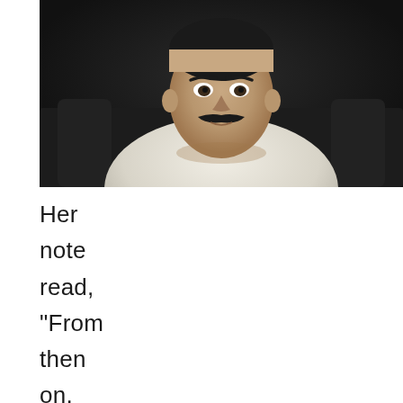[Figure (photo): Portrait photo of a man with a mustache wearing a white shirt, seated on a dark sofa/couch, photographed from the chest up against a dark background.]
Her note read, “From then on, I started training under him whil...